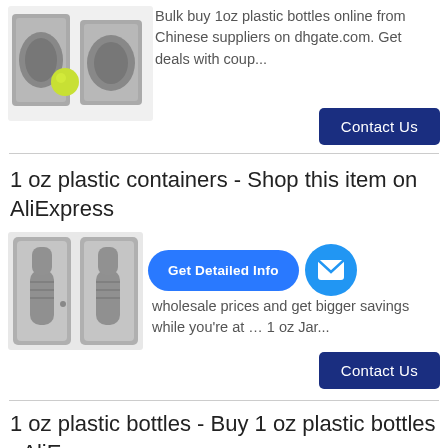Bulk buy 1oz plastic bottles online from Chinese suppliers on dhgate.com. Get deals with coup...
Contact Us
1 oz plastic containers - Shop this item on AliExpress
[Figure (screenshot): Blue 'Get Detailed Info' pill bubble with envelope icon circle overlay on product listing]
wholesale prices and get bigger savings while you're at … 1 oz Jar...
Contact Us
1 oz plastic bottles - Buy 1 oz plastic bottles - AliExpress